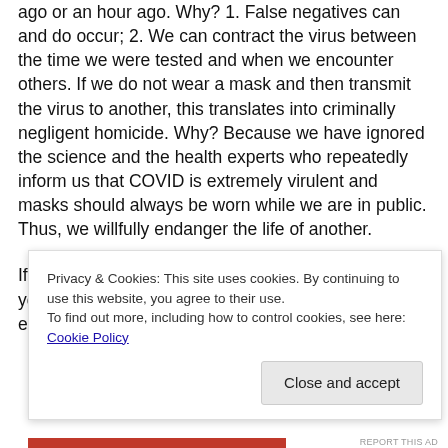ago or an hour ago. Why? 1. False negatives can and do occur; 2. We can contract the virus between the time we were tested and when we encounter others. If we do not wear a mask and then transmit the virus to another, this translates into criminally negligent homicide. Why? Because we have ignored the science and the health experts who repeatedly inform us that COVID is extremely virulent and masks should always be worn while we are in public. Thus, we willfully endanger the life of another.
If you say to me: “My freedom doesn’t end where your fear begins.” then I say to you: “My life doesn’t end
Privacy & Cookies: This site uses cookies. By continuing to use this website, you agree to their use.
To find out more, including how to control cookies, see here: Cookie Policy